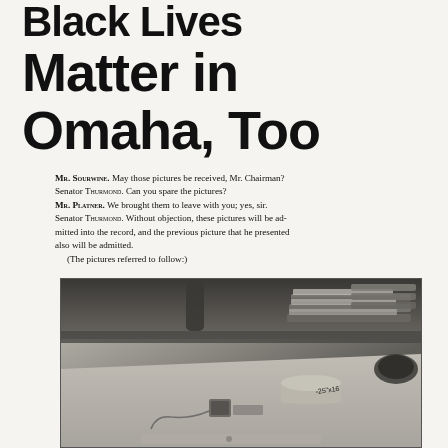Black Lives Matter in Omaha, Too
Mr. Sourwine. May those pictures be received, Mr. Chairman? Senator Thurmond. Can you spare the pictures? Mr. Platner. We brought them to leave with you; yes, sir. Senator Thurmond. Without objection, these pictures will be admitted into the record, and the previous picture that he presented also will be admitted. (The pictures referred to follow:)
[Figure (photo): Black and white photograph of a desk with file trays containing papers on the right side, a rolled document, a small device or box, and a wire/cord visible on the desk surface. A drawer is visible at the bottom. A dark cylindrical object appears at top left.]